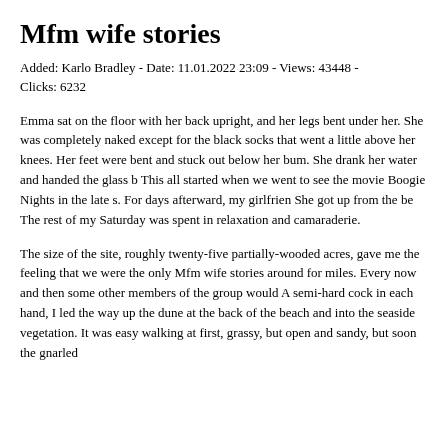Mfm wife stories
Added: Karlo Bradley - Date: 11.01.2022 23:09 - Views: 43448 - Clicks: 6232
Emma sat on the floor with her back upright, and her legs bent under her. She was completely naked except for the black socks that went a little above her knees. Her feet were bent and stuck out below her bum. She drank her water and handed the glass b This all started when we went to see the movie Boogie Nights in the late s. For days afterward, my girlfrien She got up from the be The rest of my Saturday was spent in relaxation and camaraderie.
The size of the site, roughly twenty-five partially-wooded acres, gave me the feeling that we were the only Mfm wife stories around for miles. Every now and then some other members of the group would A semi-hard cock in each hand, I led the way up the dune at the back of the beach and into the seaside vegetation. It was easy walking at first, grassy, but open and sandy, but soon the gnarled